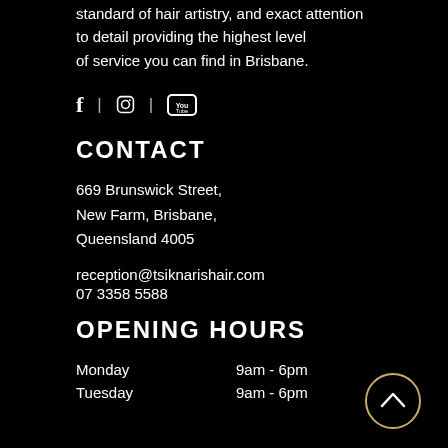standard of hair artistry, and exact attention to detail providing the highest level of service you can find in Brisbane.
[Figure (other): Social media icons: Facebook, Instagram, YouTube with separator bars]
CONTACT
669 Brunswick Street,
New Farm, Brisbane,
Queensland 4005
reception@tsiknarishair.com
07 3358 5588
OPENING HOURS
| Monday | 9am - 6pm |
| Tuesday | 9am - 6pm |
[Figure (other): Circular scroll-to-top button with upward chevron arrow, gold/cream colored border]